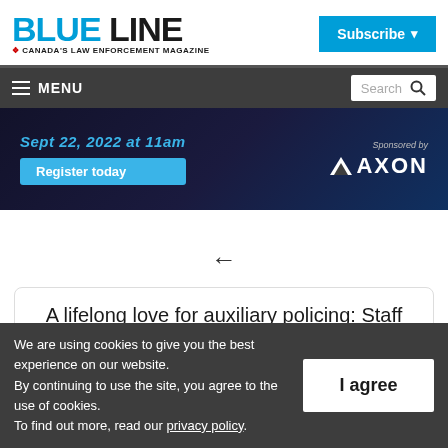[Figure (logo): Blue Line - Canada's Law Enforcement Magazine logo with blue and black text]
Subscribe ▾
≡ MENU
[Figure (infographic): Advertisement banner: Sept 22, 2022 at 11am, Register today, Sponsored by AXON]
←
A lifelong love for auxiliary policing: Staff
We are using cookies to give you the best experience on our website. By continuing to use the site, you agree to the use of cookies. To find out more, read our privacy policy.
I agree